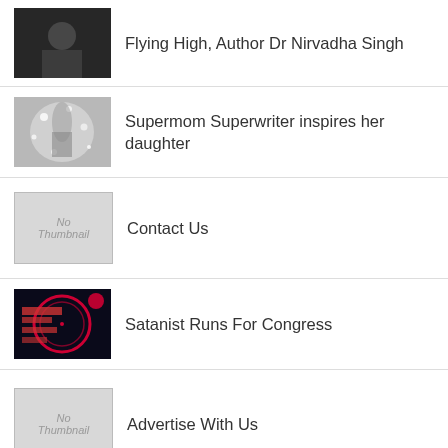Flying High, Author Dr Nirvadha Singh
Supermom Superwriter inspires her daughter
Contact Us
Satanist Runs For Congress
Advertise With Us
RECENT POSTS
MbenzGram Highlights the Flowmaster